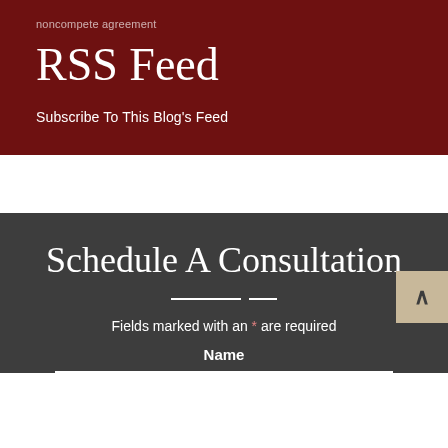noncompete agreement
RSS Feed
Subscribe To This Blog's Feed
Schedule A Consultation
Fields marked with an * are required
Name